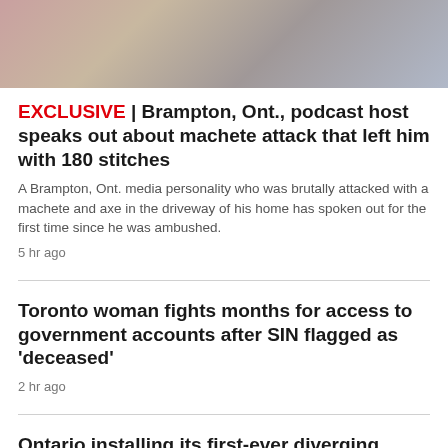[Figure (photo): A person in a hospital bed with floral clothing visible, partial view of medical/home environment]
EXCLUSIVE | Brampton, Ont., podcast host speaks out about machete attack that left him with 180 stitches
A Brampton, Ont. media personality who was brutally attacked with a machete and axe in the driveway of his home has spoken out for the first time since he was ambushed.
5 hr ago
Toronto woman fights months for access to government accounts after SIN flagged as 'deceased'
2 hr ago
Ontario installing its first-ever diverging diamond interchange and here's how it works
4 hr ago